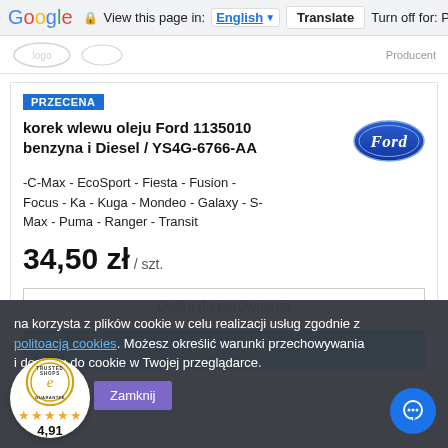Google  View this page in: English [▼]  Translate  Turn off for: P
[Figure (logo): Partial site header with logo]
PRZECENA
korek wlewu oleju Ford 1135010 benzyna i Diesel / YS4G-6766-AA
[Figure (logo): Ford oval blue logo]
-C-Max - EcoSport - Fiesta - Fusion - Focus - Ka - Kuga - Mondeo - Galaxy - S-Max - Puma - Ranger - Transit
34,50 zł / szt.
Dodaj do porównania
Zobacz więcej
na korzysta z plików cookie w celu realizacji usług zgodnie z politoacją cookies. Możesz określić warunki przechowywania i dostępu do cookie w Twojej przeglądarce.
★★★★★
4,91
Zamknij